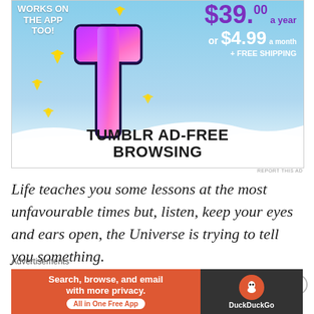[Figure (screenshot): Tumblr ad-free browsing advertisement showing a Tumblr 't' logo with sparkles on a sky background, pricing $39.00 a year or $4.99 a month plus free shipping, with text TUMBLR AD-FREE BROWSING]
REPORT THIS AD
Life teaches you some lessons at the most unfavourable times but, listen, keep your eyes and ears open, the Universe is trying to tell you something.
[Figure (screenshot): DuckDuckGo advertisement: Search, browse, and email with more privacy. All in One Free App. Shows DuckDuckGo logo on dark background.]
Advertisements